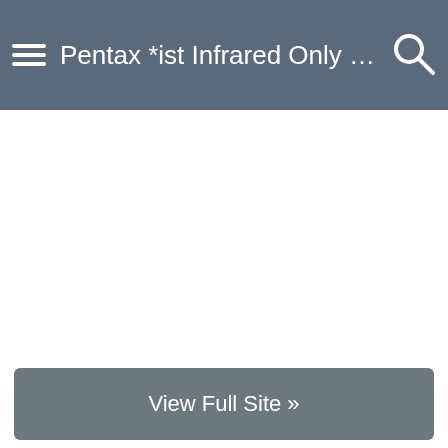Pentax *ist Infrared Only Conve...
View Full Site »
vBulletin® v3.9.3.8, Copyright ©2000-2022, vBulletin Solutions, Inc.
Advertising | Privacy Policy | Terms of Use | Do Not Sell My Personal Information